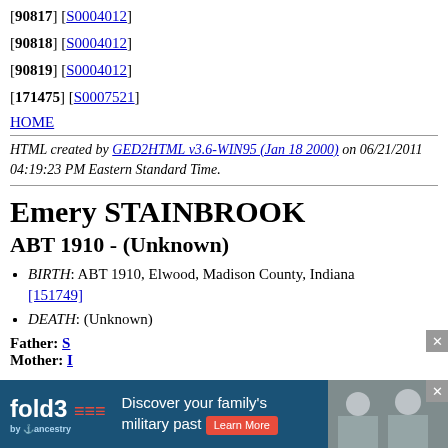[90817] [S0004012]
[90818] [S0004012]
[90819] [S0004012]
[171475] [S0007521]
HOME
HTML created by GED2HTML v3.6-WIN95 (Jan 18 2000) on 06/21/2011 04:19:23 PM Eastern Standard Time.
Emery STAINBROOK
ABT 1910 - (Unknown)
BIRTH: ABT 1910, Elwood, Madison County, Indiana [151749]
DEATH: (Unknown)
Father:
Mother:
[Figure (other): fold3 ancestry advertisement banner at bottom of page]